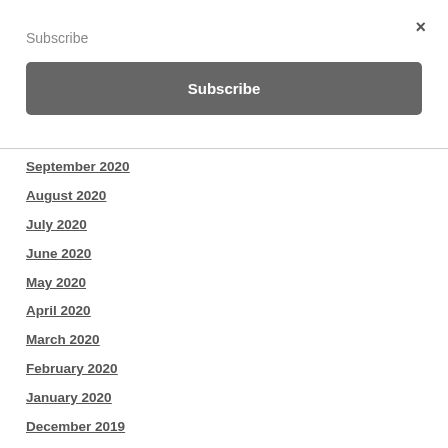Subscribe
×
Subscribe
September 2020
August 2020
July 2020
June 2020
May 2020
April 2020
March 2020
February 2020
January 2020
December 2019
November 2019
October 2019
September 2019